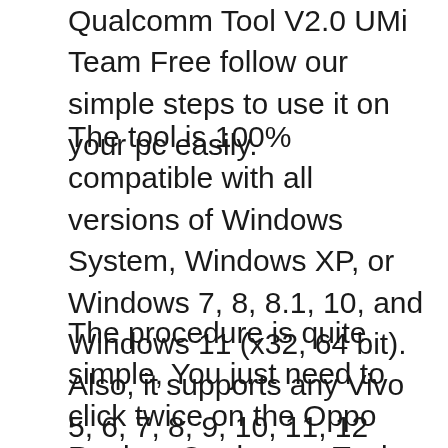Qualcomm Tool V2.0 UMi Team Free follow our simple steps to use it on your pc easily.
The tool is 100% compatible with all versions of Windows System, Windows XP, or Windows 7, 8, 8.1, 10, and Windows 11 (x32, 64 bit). Also, it supports any Vivo 5, 6, 7, 8, 9, 10, 11, 12 Android version to unlock the phone easily in EDL Mode.
The procedure is quite simple, You just need to click twice on the Oppo Realme Qualcomm Tool installer file,  and then wait for a few seconds, you'll be able to access the shortcut for the program on your desktop. Now connect your phone to the PC in EDL mode, choose the option you want to